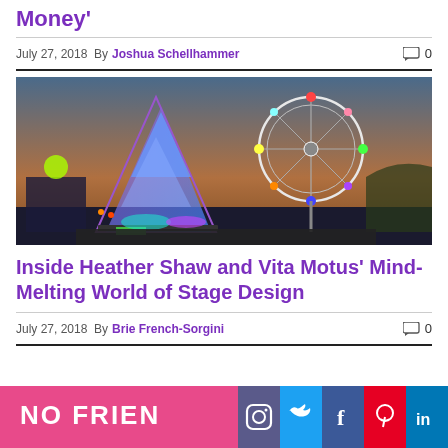Money'
July 27, 2018  By Joshua Schellhammer  0
[Figure (photo): Festival stage with colorful illuminated geometric structures and a lit Ferris wheel against a twilight sky]
Inside Heather Shaw and Vita Motus' Mind-Melting World of Stage Design
July 27, 2018  By Brie French-Sorgini  0
[Figure (photo): Partial view of a pink image with 'NO FRIEN' text and social media icons bar (Instagram, Twitter, Facebook, Pinterest, LinkedIn)]